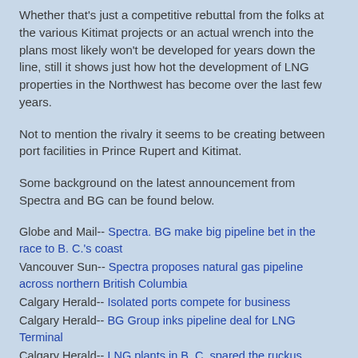Whether that's just a competitive rebuttal from the folks at the various Kitimat projects or an actual wrench into the plans most likely won't be developed for years down the line, still it shows just how hot the development of LNG properties in the Northwest has become over the last few years.
Not to mention the rivalry it seems to be creating between port facilities in Prince Rupert and Kitimat.
Some background on the latest announcement from Spectra and BG can be found below.
Globe and Mail-- Spectra. BG make big pipeline bet in the race to B. C.'s coast
Vancouver Sun-- Spectra proposes natural gas pipeline across northern British Columbia
Calgary Herald-- Isolated ports compete for business
Calgary Herald-- BG Group inks pipeline deal for LNG Terminal
Calgary Herald-- LNG plants in B. C. spared the ruckus